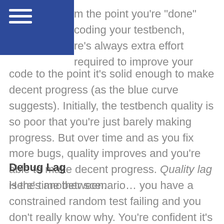m the point you’re “done” coding your testbench, re’s always extra effort required to improve your code to the point it's solid enough to make decent progress (as the blue curve suggests). Initially, the testbench quality is so poor that you’re just barely making progress. But over time and as you fix more bugs, quality improves and you're able to make decent progress. Quality lag is the time between.
Debug Lag
Here’s another scenario… you have a constrained random test failing and you don’t really know why. You’re confident it’s a design issue though so you file a bug report with the designer. The designer comes to you a day later…